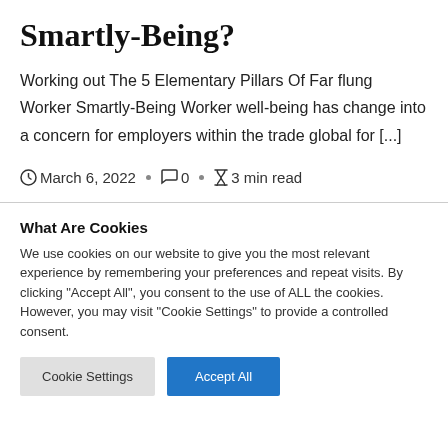Smartly-Being?
Working out The 5 Elementary Pillars Of Far flung Worker Smartly-Being Worker well-being has change into a concern for employers within the trade global for [...]
March 6, 2022 · 0 · 3 min read
What Are Cookies
We use cookies on our website to give you the most relevant experience by remembering your preferences and repeat visits. By clicking "Accept All", you consent to the use of ALL the cookies. However, you may visit "Cookie Settings" to provide a controlled consent.
Cookie Settings | Accept All